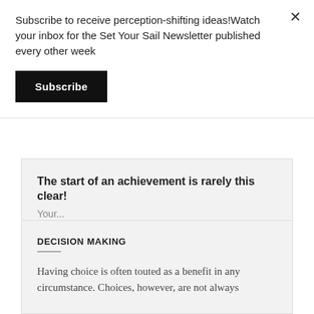Subscribe to receive perception-shifting ideas!Watch your inbox for the Set Your Sail Newsletter published every other week
Subscribe
The start of an achievement is rarely this clear!
Your...
DECISION MAKING
Having choice is often touted as a benefit in any circumstance. Choices, however, are not always